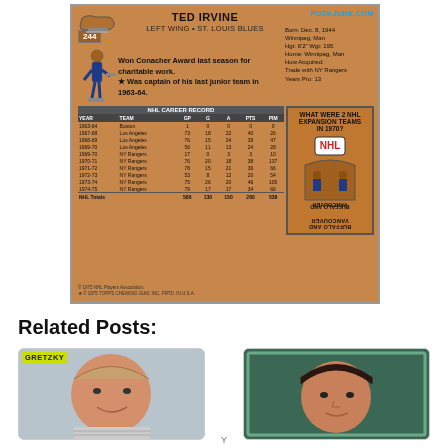[Figure (photo): Back of 1975 Topps NHL hockey card #244 for Ted Irvine, Left Wing, St. Louis Blues. Brown card with career stats table, biographical info, trivia box, and hockey player illustration.]
TED IRVINE
LEFT WING • ST. LOUIS BLUES
Born: Dec. 8, 1944
Winnipeg, Man
Hgt: 6'2" Wgt: 195
Home: Winnipeg, Man
How Acquired:
Trade with NY Rangers
Years Pro: 13
Won Conacher Award last season for charitable work.
★ Was captain of his last junior team in 1963-64.
| YEAR | TEAM | GP | G | A | PTS | PIM |
| --- | --- | --- | --- | --- | --- | --- |
| 1963-64 | Boston | 1 | 0 | 0 | 0 | 0 |
| 1967-68 | Los Angeles | 73 | 18 | 22 | 40 | 26 |
| 1968-69 | Los Angeles | 76 | 15 | 24 | 39 | 47 |
| 1969-70 | Los Angeles | 56 | 11 | 13 | 24 | 28 |
| 1969-70 | NY Rangers | 17 | 0 | 3 | 3 | 10 |
| 1970-71 | NY Rangers | 76 | 20 | 18 | 38 | 137 |
| 1971-72 | NY Rangers | 78 | 15 | 21 | 36 | 66 |
| 1972-73 | NY Rangers | 53 | 8 | 12 | 20 | 54 |
| 1973-74 | NY Rangers | 75 | 26 | 20 | 46 | 105 |
| 1974-75 | NY Rangers | 79 | 17 | 17 | 34 | 66 |
| NHL Totals |  | 586 | 130 | 150 | 280 | 539 |
WHAT WERE 2 NHL EXPANSION TEAMS IN 1970?
BUFFALO AND VANCOUVER
© 1975 NHL Players Association.
★ © 1975 TOPPS CHEWING GUM, INC. PRTD. IN U.S.A.
Related Posts:
[Figure (photo): Hockey card with Gretzky label at top, young man smiling in striped shirt]
[Figure (photo): Hockey card with young man with dark bowl-cut hair, teal/green background]